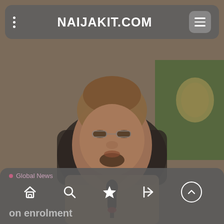NAIJAKIT.COM
[Figure (photo): A man wearing a traditional brown cap and attire seated at a desk with a microphone in front, speaking. A Nigerian flag crest is visible in the background. The image is blurred/soft focus.]
Global News
on enrolment